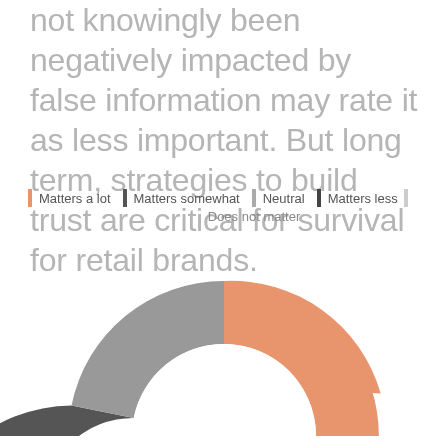not knowingly been negatively impacted by false information may rate it as less important. But long term, strategies to build trust are critical for survival for retail brands.
[Figure (donut-chart): Trust in retail brands survey]